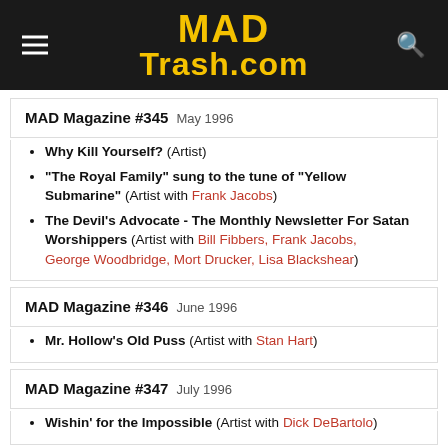MAD Trash.com
MAD Magazine #345  May 1996
Why Kill Yourself? (Artist)
"The Royal Family" sung to the tune of "Yellow Submarine" (Artist with Frank Jacobs)
The Devil's Advocate - The Monthly Newsletter For Satan Worshippers (Artist with Bill Fibbers, Frank Jacobs, George Woodbridge, Mort Drucker, Lisa Blackshear)
MAD Magazine #346  June 1996
Mr. Hollow's Old Puss (Artist with Stan Hart)
MAD Magazine #347  July 1996
Wishin' for the Impossible (Artist with Dick DeBartolo)
MAD Magazine #348  August 1996
Why Kill Yourself? (Artist)